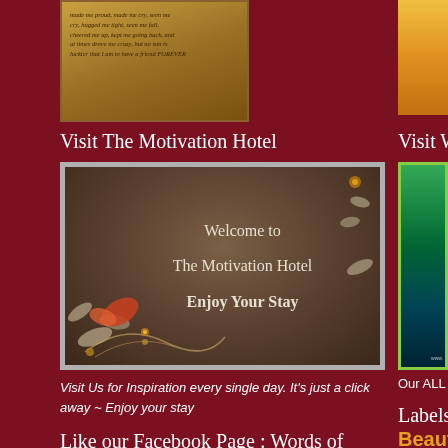[Figure (photo): Top-left image: decorative vintage paper with cursive motivational text]
[Figure (photo): Top-right partially visible image: colorful illustration with figures]
Visit The Motivation Hotel
Visit W
[Figure (photo): Hotel welcome image with brown/taupe background, decorative floral and butterfly elements in corners, text: 'Welcome to The Motivation Hotel Enjoy Your Stay']
[Figure (photo): Right column partially visible green/teal box with cursive text and www URL]
Visit Us for Inspiration every single day. It's just a click away ~ Enjoy your stay
Our ALL
Labels
Beautif
Like our Facebook Page : Words of